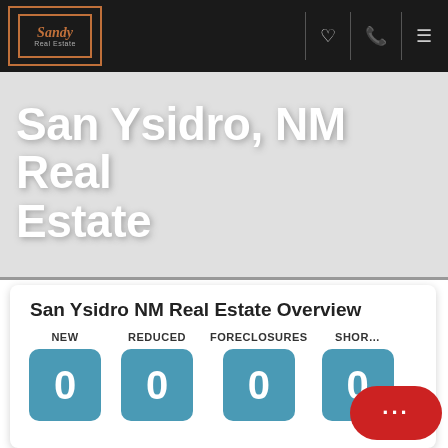[Figure (logo): Sandy Real Estate logo with orange border box]
San Ysidro, NM Real Estate
San Ysidro NM Real Estate Overview
NEW 0
REDUCED 0
FORECLOSURES 0
SHORT SALES 0